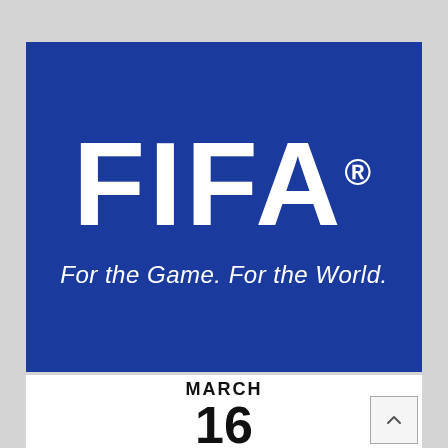[Figure (logo): FIFA logo on blue background with white bold text 'FIFA' and registered trademark symbol, and italic white tagline 'For the Game. For the World.']
MARCH
16